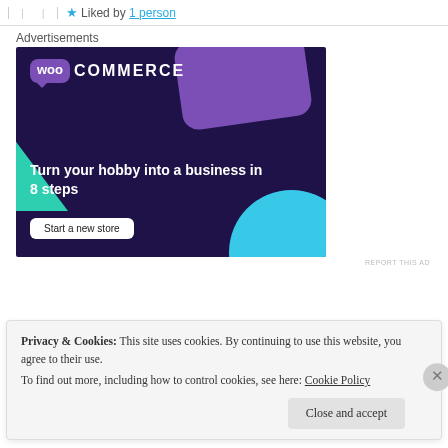Liked by 1 person
Advertisements
[Figure (logo): WooCommerce advertisement banner on dark purple background. Shows WooCommerce logo, teal triangle shape, light blue circle shape, purple card shape, headline 'Turn your hobby into a business in 8 steps', and a 'Start a new store' button.]
REPORT THIS AD
Privacy & Cookies: This site uses cookies. By continuing to use this website, you agree to their use. To find out more, including how to control cookies, see here: Cookie Policy
Close and accept